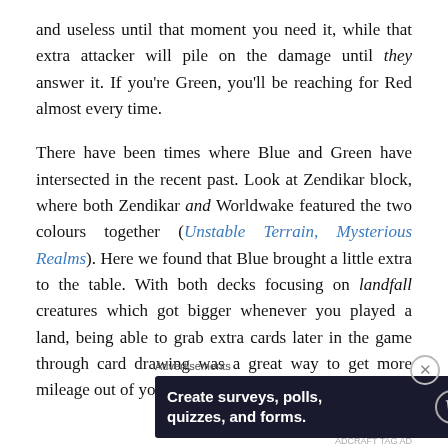and useless until that moment you need it, while that extra attacker will pile on the damage until they answer it. If you're Green, you'll be reaching for Red almost every time.
There have been times where Blue and Green have intersected in the recent past. Look at Zendikar block, where both Zendikar and Worldwake featured the two colours together (Unstable Terrain, Mysterious Realms). Here we found that Blue brought a little extra to the table. With both decks focusing on landfall creatures which got bigger whenever you played a land, being able to grab extra cards later in the game through card drawing was a great way to get more mileage out of your creatures.
Advertisements
[Figure (screenshot): Advertisement banner: dark navy background with white bold text 'Create surveys, polls, quizzes, and forms.' with WordPress and SurveyBall logos on the right.]